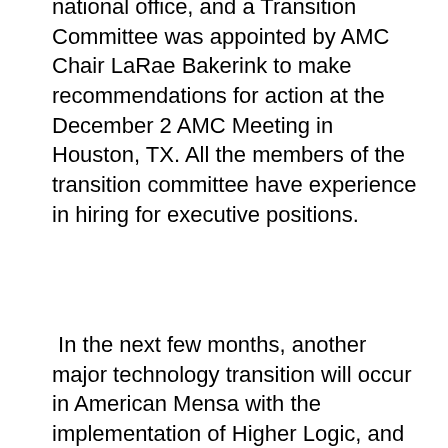national office, and a Transition Committee was appointed by AMC Chair LaRae Bakerink to make recommendations for action at the December 2 AMC Meeting in Houston, TX. All the members of the transition committee have experience in hiring for executive positions.
In the next few months, another major technology transition will occur in American Mensa with the implementation of Higher Logic, and the rollout of Mensa Connect. Mensa Connect will be replacing the existing in-house mailing lists used for Local Group officers and other committees, such as the LocSecs/Presidents, Editors, Membership Officers, and others, as well as the Mensa Community. There will be a presentation to the AMC at the December meeting, followed by testing by some of the existing groups. Once the testing phase has concluded, the function will be rolled out to local